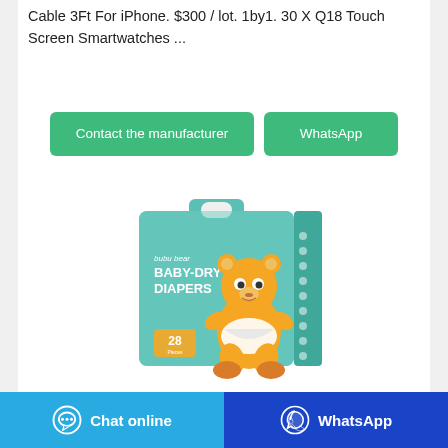Cable 3Ft For iPhone. $300 / lot. 1by1. 30 X Q18 Touch Screen Smartwatches ...
[Figure (other): Two green buttons: 'Contact the manufacturer' and 'WhatsApp']
[Figure (photo): Product photo of bubu bear BABY-DRY DIAPERS box, 28 diapers, teal/green packaging with cartoon bear character]
[Figure (other): Footer bar with two buttons: blue 'Chat online' button with chat icon, and dark blue 'WhatsApp' button with WhatsApp icon]